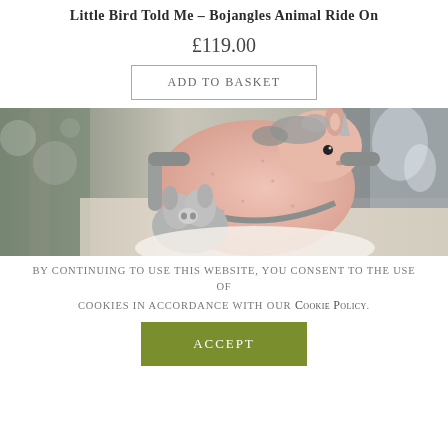Little Bird Told Me – Bojangles Animal Ride On
£119.00
Add to basket
[Figure (photo): A pink stuffed unicorn ride-on toy with grey plush ears, mane, and handle bars, set against a blurred indoor background. A small grey plush toy is visible in front.]
By continuing to use this website, you consent to the use of cookies in accordance with our Cookie Policy.
Accept